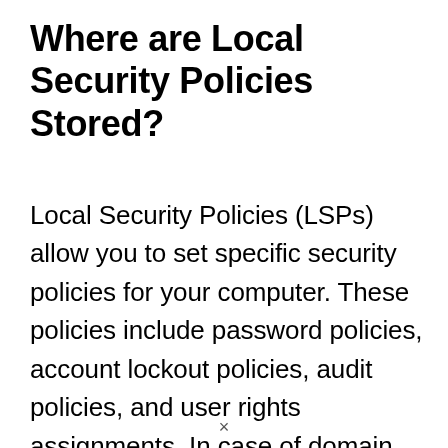Where are Local Security Policies Stored?
Local Security Policies (LSPs) allow you to set specific security policies for your computer. These policies include password policies, account lockout policies, audit policies, and user rights assignments. In case of domain security policies, these policies will take precedence over local policies. To set Local Security Policies, you can either use the